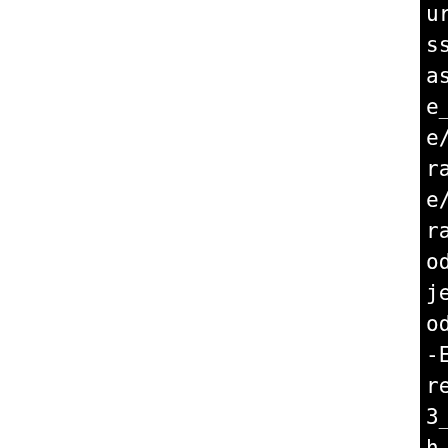ure/gf-complete/src/libec_sse3_la-gf_w128.lo erasure/gf-complete/src/libe_sse3_la-gf_general.lo e/jerasure/gf-complete/src rasure_sse3_la-gf_w4.lo e/jerasure/gf-complete/src rasure_sse3_la-gf_rand.lo ode/jerasure/gf-complete/s jerasure_sse3_la-gf_w8.lo ode/jerasure/libec_jerasu -ErasureCodePluginJerasure re-code/jerasure/libec_je 3_la-ErasureCodeJerasure.l h.la -lpthread -luuid -lm ost_system libtool: link: /usr/bin/nm re-code/.libs/libec_jerasu a-ErasureCode.o erasure-co re/jerasure/src/.libs/libe e_sse3_la-cauchy.o erasure asure/jerasure/src/.libs/l sure_sse3_la-galois.o eras jerasure/jerasure/src/.lib